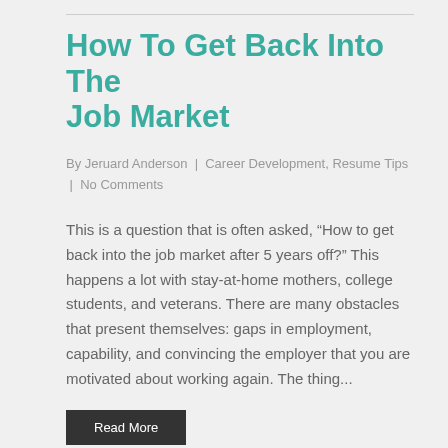How To Get Back Into The Job Market
By Jeruard Anderson | Career Development, Resume Tips | No Comments
This is a question that is often asked, “How to get back into the job market after 5 years off?” This happens a lot with stay-at-home mothers, college students, and veterans. There are many obstacles that present themselves: gaps in employment, capability, and convincing the employer that you are motivated about working again. The thing...
Read More